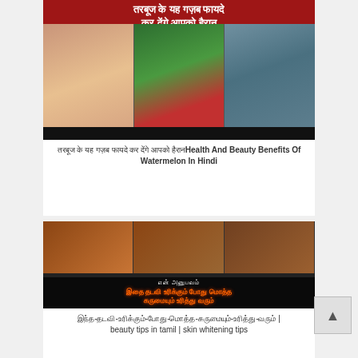[Figure (photo): Thumbnail image showing people eating watermelon and watermelon slices with Hindi text overlay at top in red background]
तरबूज के यह गज़ब फायदे कर देंगे आपको हैरान Health And Beauty Benefits Of Watermelon In Hindi
[Figure (photo): Thumbnail image showing face mask/skin care with Tamil text overlay. Text includes 'என் அனுபவம்' and Tamil neon text about skin treatment]
இந்த-தடவி-உரிக்கும்-போது-மொத்த-கருமையும்-உரித்து-வரும் | beauty tips in tamil | skin whitening tips